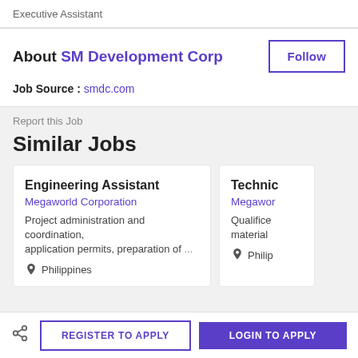Executive Assistant
About SM Development Corp
Job Source : smdc.com
Report this Job
Similar Jobs
Engineering Assistant
Megaworld Corporation
Project administration and coordination, application permits, preparation of ...
Philippines
Technic
Megawor
Qualifice material
Philip